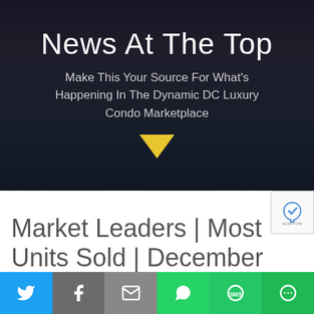News At The Top
Make This Your Source For What's Happening In The Dynamic DC Luxury Condo Marketplace
[Figure (illustration): Yellow downward-pointing triangle arrow icon]
Market Leaders | Most Units Sold | December
[Figure (infographic): Social share bar with Twitter, Facebook, Email, WhatsApp, SMS, and More buttons]